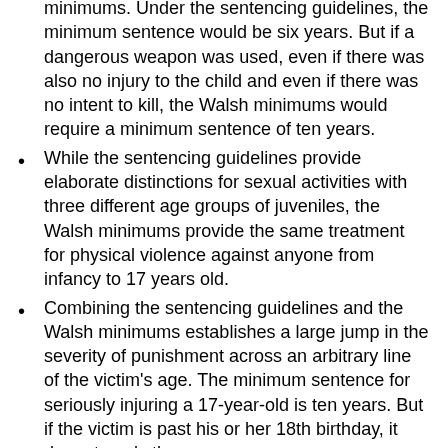minimums. Under the sentencing guidelines, the minimum sentence would be six years. But if a dangerous weapon was used, even if there was also no injury to the child and even if there was no intent to kill, the Walsh minimums would require a minimum sentence of ten years.
While the sentencing guidelines provide elaborate distinctions for sexual activities with three different age groups of juveniles, the Walsh minimums provide the same treatment for physical violence against anyone from infancy to 17 years old.
Combining the sentencing guidelines and the Walsh minimums establishes a large jump in the severity of punishment across an arbitrary line of the victim's age. The minimum sentence for seriously injuring a 17-year-old is ten years. But if the victim is past his or her 18th birthday, it drops to only three years.